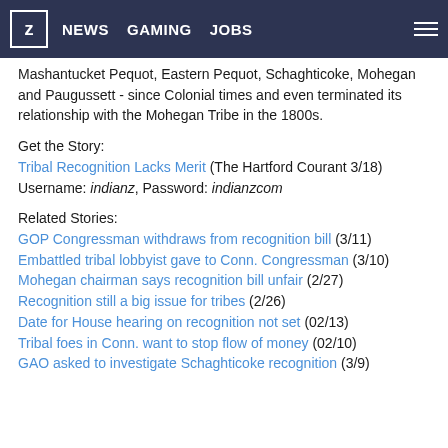z NEWS GAMING JOBS ≡
Mashantucket Pequot, Eastern Pequot, Schaghticoke, Mohegan and Paugussett - since Colonial times and even terminated its relationship with the Mohegan Tribe in the 1800s.
Get the Story:
Tribal Recognition Lacks Merit (The Hartford Courant 3/18)
Username: indianz, Password: indianzcom
Related Stories:
GOP Congressman withdraws from recognition bill (3/11)
Embattled tribal lobbyist gave to Conn. Congressman (3/10)
Mohegan chairman says recognition bill unfair (2/27)
Recognition still a big issue for tribes (2/26)
Date for House hearing on recognition not set (02/13)
Tribal foes in Conn. want to stop flow of money (02/10)
GAO asked to investigate Schaghticoke recognition (3/9)